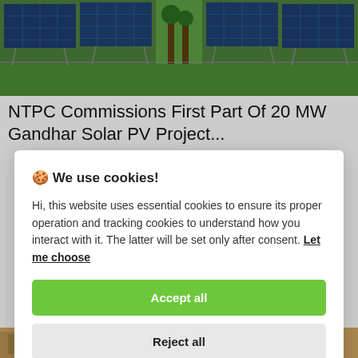[Figure (photo): Solar panel array in a field with green grass and trees in background]
NTPC Commissions First Part Of 20 MW Gandhar Solar PV Project...
🍪 We use cookies!

Hi, this website uses essential cookies to ensure its proper operation and tracking cookies to understand how you interact with it. The latter will be set only after consent. Let me choose

[Accept all]
[Reject all]
[Figure (photo): Partial bottom image strip showing people]